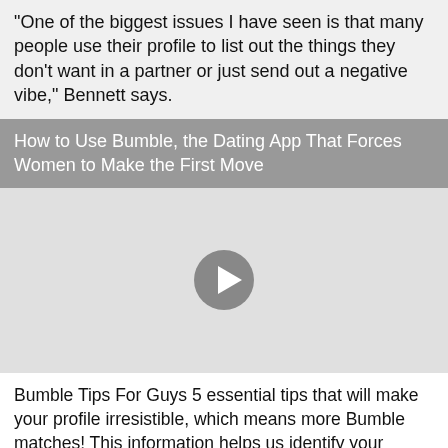"One of the biggest issues I have seen is that many people use their profile to list out the things they don't want in a partner or just send out a negative vibe," Bennett says.
How to Use Bumble, the Dating App That Forces Women to Make the First Move
[Figure (screenshot): Video player area with a play button circle in the center on a light gray background]
Bumble Tips For Guys 5 essential tips that will make your profile irresistible, which means more Bumble matches! This information helps us identify your physical location and we use it to personalise the App and make it easier for you to interact with other Users, by enabling the general locality information to be displayed to Users seeing your profile and showing you